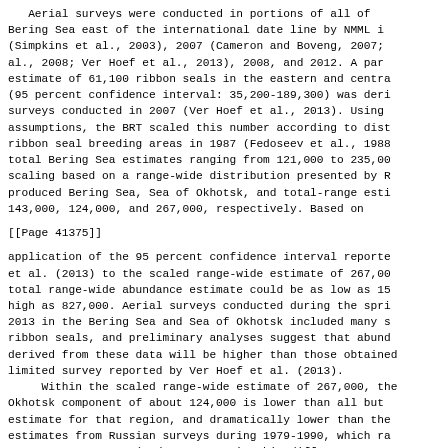Aerial surveys were conducted in portions of all of the Bering Sea east of the international date line by NMML in (Simpkins et al., 2003), 2007 (Cameron and Boveng, 2007; al., 2008; Ver Hoef et al., 2013), 2008, and 2012. A part estimate of 61,100 ribbon seals in the eastern and centra (95 percent confidence interval: 35,200-189,300) was deri surveys conducted in 2007 (Ver Hoef et al., 2013). Using assumptions, the BRT scaled this number according to dist ribbon seal breeding areas in 1987 (Fedoseev et al., 1988 total Bering Sea estimates ranging from 121,000 to 235,00 scaling based on a range-wide distribution presented by R produced Bering Sea, Sea of Okhotsk, and total-range esti 143,000, 124,000, and 267,000, respectively. Based on
[[Page 41375]]
application of the 95 percent confidence interval reporte et al. (2013) to the scaled range-wide estimate of 267,00 total range-wide abundance estimate could be as low as 15 high as 827,000. Aerial surveys conducted during the spri 2013 in the Bering Sea and Sea of Okhotsk included many s ribbon seals, and preliminary analyses suggest that abund derived from these data will be higher than those obtained limited survey reported by Ver Hoef et al. (2013).
     Within the scaled range-wide estimate of 267,000, the Okhotsk component of about 124,000 is lower than all but estimate for that region, and dramatically lower than the estimates from Russian surveys during 1979-1990, which ra 410,000 to 630,000 (Fedoseev, 2000). This difference may failure of assumptions rather than a population decline. estimate for the Sea of Okhotsk was derived from a recent